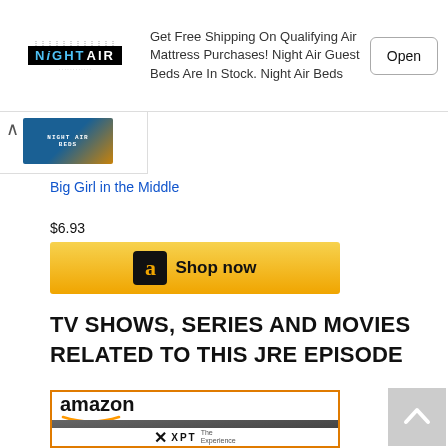[Figure (screenshot): Night Air advertisement banner with logo, text about free shipping on air mattress purchases, and an Open button]
[Figure (screenshot): Collapsed ad with chevron up arrow and a small Night Air product image thumbnail]
Big Girl in the Middle
$6.93
[Figure (screenshot): Amazon Shop now button with orange/yellow gradient and Amazon logo]
TV SHOWS, SERIES AND MOVIES RELATED TO THIS JRE EPISODE
[Figure (screenshot): Amazon product card for XPT The Experience with orange border, Amazon wordmark, and show image]
[Figure (screenshot): Back to top arrow button in gray]